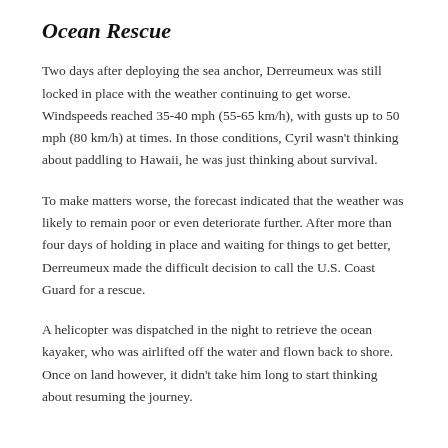Ocean Rescue
Two days after deploying the sea anchor, Derreumeux was still locked in place with the weather continuing to get worse. Windspeeds reached 35-40 mph (55-65 km/h), with gusts up to 50 mph (80 km/h) at times. In those conditions, Cyril wasn't thinking about paddling to Hawaii, he was just thinking about survival.
To make matters worse, the forecast indicated that the weather was likely to remain poor or even deteriorate further. After more than four days of holding in place and waiting for things to get better, Derreumeux made the difficult decision to call the U.S. Coast Guard for a rescue.
A helicopter was dispatched in the night to retrieve the ocean kayaker, who was airlifted off the water and flown back to shore. Once on land however, it didn't take him long to start thinking about resuming the journey.